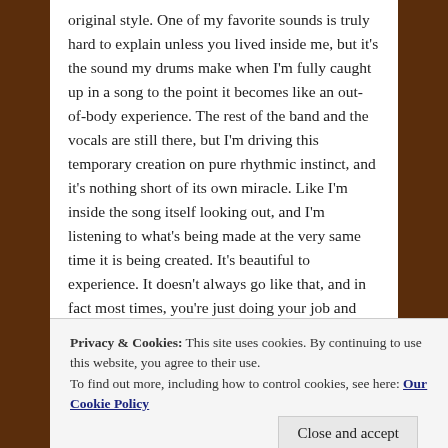original style. One of my favorite sounds is truly hard to explain unless you lived inside me, but it's the sound my drums make when I'm fully caught up in a song to the point it becomes like an out-of-body experience. The rest of the band and the vocals are still there, but I'm driving this temporary creation on pure rhythmic instinct, and it's nothing short of its own miracle. Like I'm inside the song itself looking out, and I'm listening to what's being made at the very same time it is being created. It's beautiful to experience. It doesn't always go like that, and in fact most times, you're just doing your job and playing drums. The picture of me above? I was inside the song.
Privacy & Cookies: This site uses cookies. By continuing to use this website, you agree to their use.
To find out more, including how to control cookies, see here: Our Cookie Policy
Close and accept
spectrum of senses and emotions that Autumn